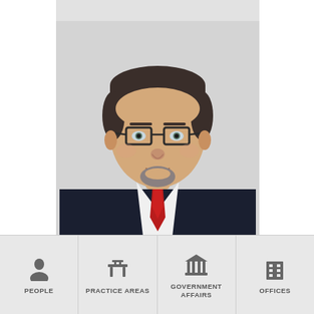[Figure (photo): Professional headshot of a middle-aged man with glasses, short dark hair, goatee, wearing a dark suit, white shirt, and red tie, against a light gray background.]
^
D...
PEOPLE
PRACTICE AREAS
GOVERNMENT AFFAIRS
OFFICES